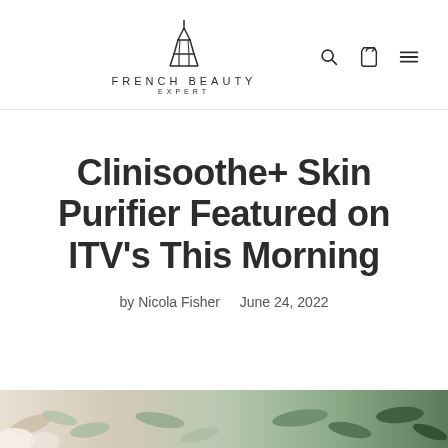FRENCH BEAUTY EXPERT — website header with logo, search, cart, and menu icons
Clinisoothe+ Skin Purifier Featured on ITV's This Morning
by Nicola Fisher  June 24, 2022
[Figure (photo): Partial view of an article hero image showing natural foliage/fern leaves in greens and beige tones at the bottom of the page]